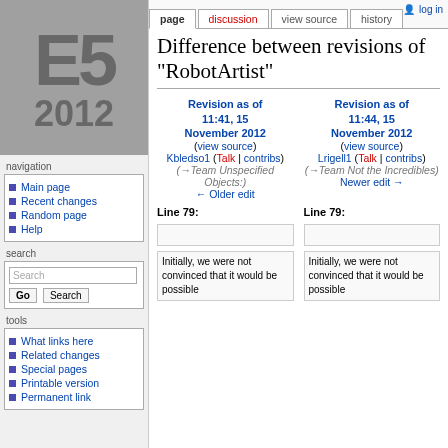[Figure (logo): E5 2012 logo in gray on gray background]
navigation
Main page
Recent changes
Random page
Help
search
tools
What links here
Related changes
Special pages
Printable version
Permanent link
page | discussion | view source | history | log in
Difference between revisions of "RobotArtist"
Revision as of 11:41, 15 November 2012 (view source) Kbledso1 (Talk | contribs) (→Team Unspecified Objects:) ← Older edit
Revision as of 11:44, 15 November 2012 (view source) Lrigell1 (Talk | contribs) (→Team Not the Incredibles) Newer edit →
Line 79:
Line 79:
Initially, we were not convinced that it would be possible
Initially, we were not convinced that it would be possible